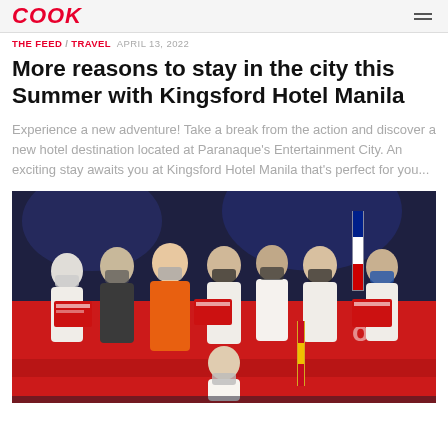COOK
THE FEED / TRAVEL  APRIL 13, 2022
More reasons to stay in the city this Summer with Kingsford Hotel Manila
Experience a new adventure! Take a break from the action and discover a new hotel destination located at Paranaque's Entertainment City. An exciting stay awaits you at Kingsford Hotel Manila that's perfect for you...
[Figure (photo): Group photo of people wearing masks holding red award certificates/signs at what appears to be a culinary competition event. One woman in an orange blazer stands in the center, others in white chef uniforms surround her, and one person kneels in front.]